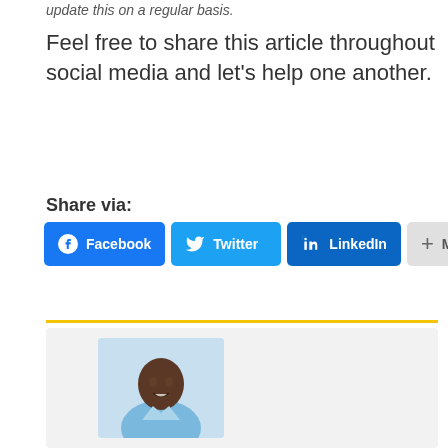update this on a regular basis.
Feel free to share this article throughout social media and let’s help one another.
Share via:
[Figure (other): Social share buttons: Facebook, Twitter, LinkedIn, More]
[Figure (photo): Author profile photo of a man in a light blue shirt]